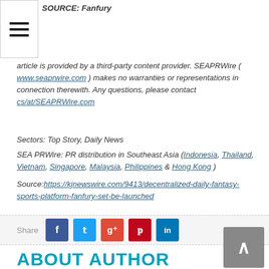SOURCE: Fanfury
article is provided by a third-party content provider. SEAPRWire ( www.seaprwire.com ) makes no warranties or representations in connection therewith. Any questions, please contact cs/at/SEAPRWire.com
Sectors: Top Story, Daily News
SEA PRWire: PR distribution in Southeast Asia (Indonesia, Thailand, Vietnam, Singapore, Malaysia, Philippines & Hong Kong )
Source:https://kjnewswire.com/9413/decentralized-daily-fantasy-sports-platform-fanfury-set-be-launched
ABOUT AUTHOR
ADMIN